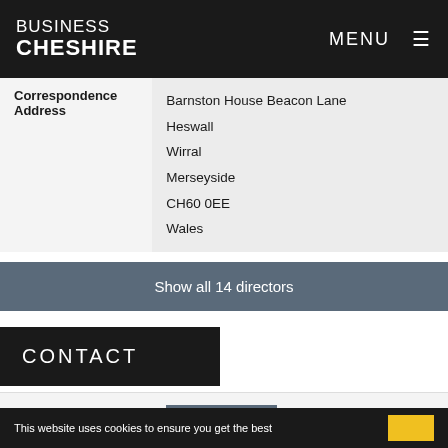BUSINESS CHESHIRE | MENU
| Correspondence Address |  |
| --- | --- |
| Correspondence Address | Barnston House Beacon Lane
Heswall
Wirral
Merseyside
CH60 0EE
Wales |
Show all 14 directors
CONTACT
| Website | cotlook.com |
| --- | --- |
| Website | cotlook.com |
| Telephone | 0151 6446400 |
This website uses cookies to ensure you get the best